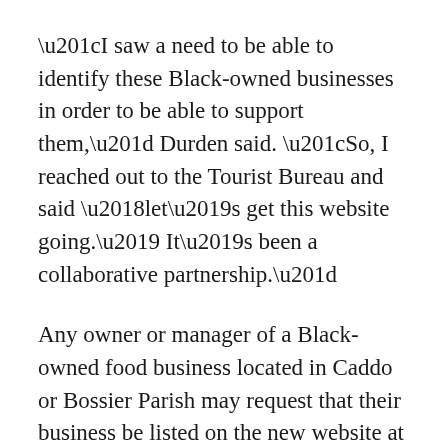“I saw a need to be able to identify these Black-owned businesses in order to be able to support them,” Durden said. “So, I reached out to the Tourist Bureau and said ‘let’s get this website going.’ It’s been a collaborative partnership.”
Any owner or manager of a Black-owned food business located in Caddo or Bossier Parish may request that their business be listed on the new website at no charge. To request a listing, visit www.Shreveport-Bossier.org and click the graphic that reads “Request a Listing.” When submitting a listing request